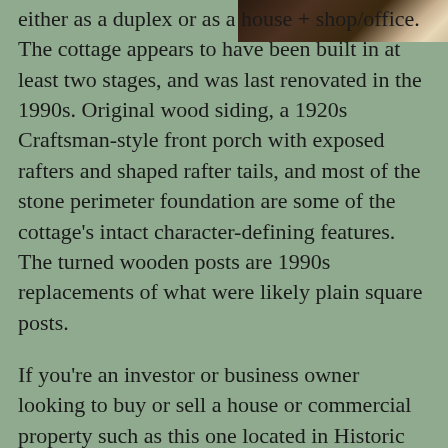[Figure (photo): Partial photograph of a building exterior, cropped at top right corner of the page]
either as a duplex or as a house + shop/office. The cottage appears to have been built in at least two stages, and was last renovated in the 1990s. Original wood siding, a 1920s Craftsman-style front porch with exposed rafters and shaped rafter tails, and most of the stone perimeter foundation are some of the cottage's intact character-defining features. The turned wooden posts are 1990s replacements of what were likely plain square posts.
If you're an investor or business owner looking to buy or sell a house or commercial property such as this one located in Historic Lexington,